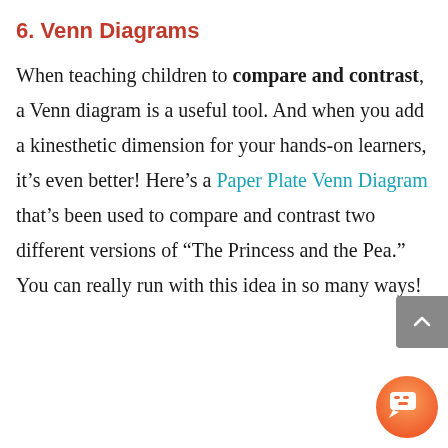6. Venn Diagrams
When teaching children to compare and contrast, a Venn diagram is a useful tool. And when you add a kinesthetic dimension for your hands-on learners, it's even better! Here's a Paper Plate Venn Diagram that's been used to compare and contrast two different versions of “The Princess and the Pea.” You can really run with this idea in so many ways!